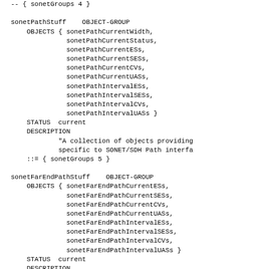-- { sonetGroups 4 }

sonetPathStuff    OBJECT-GROUP
    OBJECTS { sonetPathCurrentWidth,
              sonetPathCurrentStatus,
              sonetPathCurrentESs,
              sonetPathCurrentSESs,
              sonetPathCurrentCVs,
              sonetPathCurrentUASs,
              sonetPathIntervalESs,
              sonetPathIntervalSESs,
              sonetPathIntervalCVs,
              sonetPathIntervalUASs }
    STATUS  current
    DESCRIPTION
            "A collection of objects providing
            specific to SONET/SDH Path interfa
    ::= { sonetGroups 5 }

sonetFarEndPathStuff    OBJECT-GROUP
    OBJECTS { sonetFarEndPathCurrentESs,
              sonetFarEndPathCurrentSESs,
              sonetFarEndPathCurrentCVs,
              sonetFarEndPathCurrentUASs,
              sonetFarEndPathIntervalESs,
              sonetFarEndPathIntervalSESs,
              sonetFarEndPathIntervalCVs,
              sonetFarEndPathIntervalUASs }
    STATUS  current
    DESCRIPTION
            "A collection of objects providing